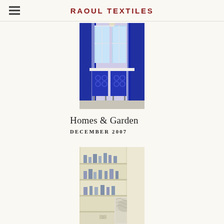RAOUL TEXTILES
[Figure (photo): Interior room photo showing blue curtains and patterned chairs with white dining table and windows]
Homes & Garden
DECEMBER 2007
[Figure (photo): Interior room photo showing built-in bookshelves with decorative items and an upholstered armchair]